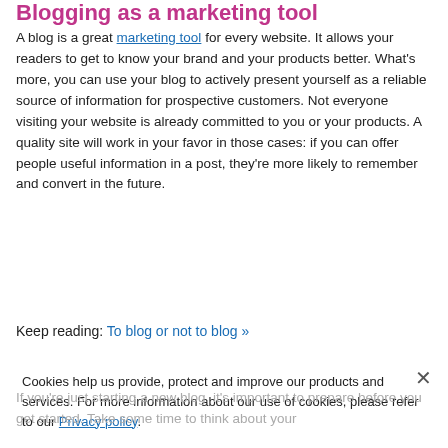Blogging as a marketing tool
A blog is a great marketing tool for every website. It allows your readers to get to know your brand and your products better. What's more, you can use your blog to actively present yourself as a reliable source of information for prospective customers. Not everyone visiting your website is already committed to you or your products. A quality site will work in your favor in those cases: if you can offer people useful information in a post, they’re more likely to remember and convert in the future.
Keep reading: To blog or not to blog »
Cookies help us provide, protect and improve our products and services. For more information about our use of cookies, please refer to our Privacy policy.
If you’re just starting a new blog, it’s important to prepare before you get started. Take some time to think about your